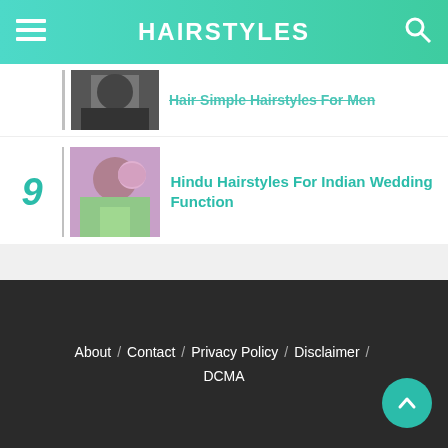HAIRSTYLES
Hair Simple Hairstyles For Men
Hindu Hairstyles For Indian Wedding Function
Easy Hairstyles For Long Thick Hair For School
About / Contact / Privacy Policy / Disclaimer / DCMA